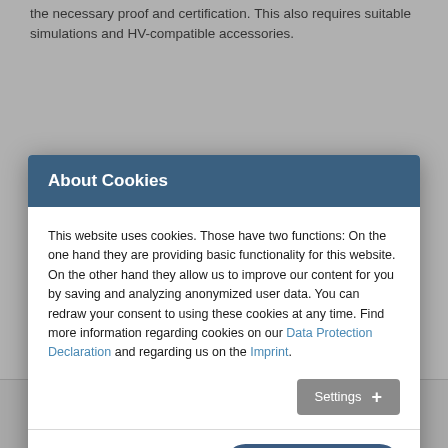the necessary proof and certification. This also requires suitable simulations and HV-compatible accessories.
About Cookies
This website uses cookies. Those have two functions: On the one hand they are providing basic functionality for this website. On the other hand they allow us to improve our content for you by saving and analyzing anonymized user data. You can redraw your consent to using these cookies at any time. Find more information regarding cookies on our Data Protection Declaration and regarding us on the Imprint.
perform a wide range of control and regulation tasks in modern vehicles.